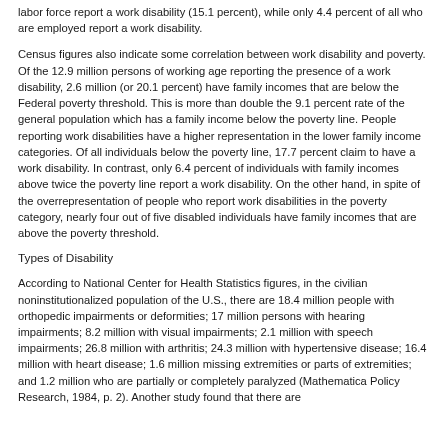labor force report a work disability (15.1 percent), while only 4.4 percent of all who are employed report a work disability.
Census figures also indicate some correlation between work disability and poverty. Of the 12.9 million persons of working age reporting the presence of a work disability, 2.6 million (or 20.1 percent) have family incomes that are below the Federal poverty threshold. This is more than double the 9.1 percent rate of the general population which has a family income below the poverty line. People reporting work disabilities have a higher representation in the lower family income categories. Of all individuals below the poverty line, 17.7 percent claim to have a work disability. In contrast, only 6.4 percent of individuals with family incomes above twice the poverty line report a work disability. On the other hand, in spite of the overrepresentation of people who report work disabilities in the poverty category, nearly four out of five disabled individuals have family incomes that are above the poverty threshold.
Types of Disability
According to National Center for Health Statistics figures, in the civilian noninstitutionalized population of the U.S., there are 18.4 million people with orthopedic impairments or deformities; 17 million persons with hearing impairments; 8.2 million with visual impairments; 2.1 million with speech impairments; 26.8 million with arthritis; 24.3 million with hypertensive disease; 16.4 million with heart disease; 1.6 million missing extremities or parts of extremities; and 1.2 million who are partially or completely paralyzed (Mathematica Policy Research, 1984, p. 2). Another study found that there are